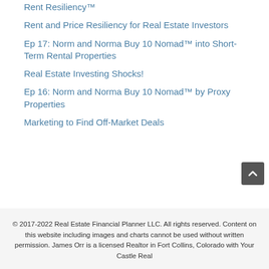Rent Resiliency™
Rent and Price Resiliency for Real Estate Investors
Ep 17: Norm and Norma Buy 10 Nomad™ into Short-Term Rental Properties
Real Estate Investing Shocks!
Ep 16: Norm and Norma Buy 10 Nomad™ by Proxy Properties
Marketing to Find Off-Market Deals
© 2017-2022 Real Estate Financial Planner LLC. All rights reserved. Content on this website including images and charts cannot be used without written permission. James Orr is a licensed Realtor in Fort Collins, Colorado with Your Castle Real